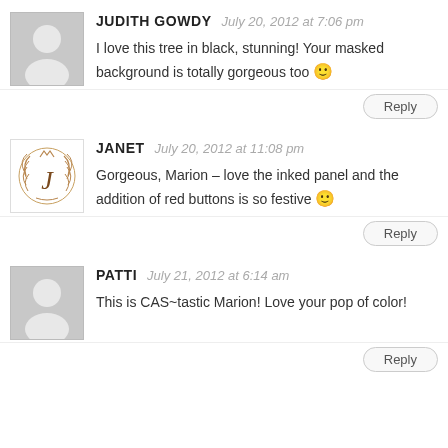[Figure (illustration): Grey placeholder avatar silhouette for Judith Gowdy]
JUDITH GOWDY  July 20, 2012 at 7:06 pm
I love this tree in black, stunning! Your masked background is totally gorgeous too 🙂
Reply
[Figure (illustration): Crest/laurel wreath avatar with letter J for Janet]
JANET  July 20, 2012 at 11:08 pm
Gorgeous, Marion – love the inked panel and the addition of red buttons is so festive 🙂
Reply
[Figure (illustration): Grey placeholder avatar silhouette for Patti]
PATTI  July 21, 2012 at 6:14 am
This is CAS~tastic Marion! Love your pop of color!
Reply